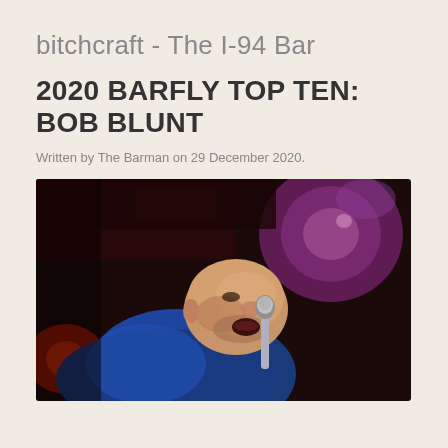bitchcraft - The I-94 Bar
2020 BARFLY TOP TEN: BOB BLUNT
Written by The Barman on 29 December 2020.
[Figure (photo): A bald man singing passionately into a microphone, wearing a blue shirt, lit by red and purple stage lighting against a dark background.]